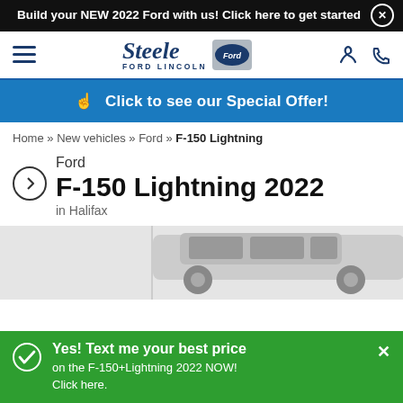Build your NEW 2022 Ford with us! Click here to get started
[Figure (logo): Steele Ford Lincoln logo with Ford oval badge]
Click to see our Special Offer!
Home » New vehicles » Ford » F-150 Lightning
Ford F-150 Lightning 2022 in Halifax
[Figure (photo): Partial view of a Ford F-150 Lightning 2022 vehicle in grey/silver]
Yes! Text me your best price on the F-150+Lightning 2022 NOW! Click here.